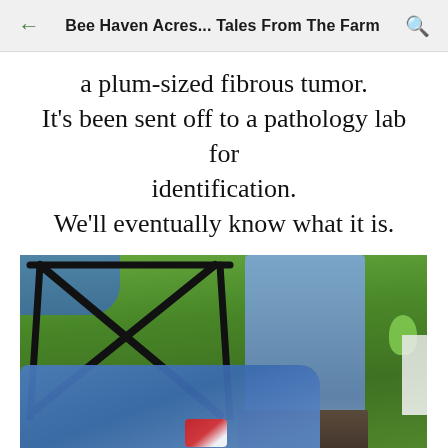Bee Haven Acres... Tales From The Farm
a plum-sized fibrous tumor.
It's been sent off to a pathology lab for identification.
We'll eventually know what it is.
[Figure (photo): Outdoor scene on grass showing a folding camp chair frame, a person's legs in jeans and boots, a blue towel or cloth on the ground with a red-and-white item on it, a green hose visible in the upper right, and a white object on the right edge.]